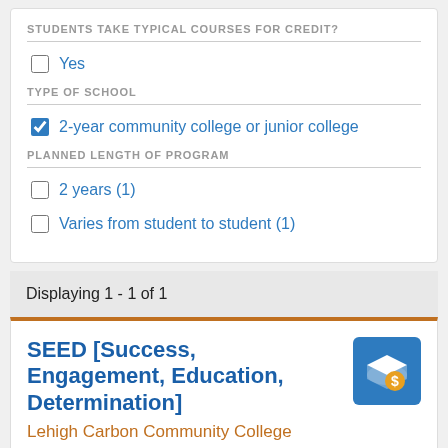STUDENTS TAKE TYPICAL COURSES FOR CREDIT?
Yes
TYPE OF SCHOOL
2-year community college or junior college
PLANNED LENGTH OF PROGRAM
2 years (1)
Varies from student to student (1)
Displaying 1 - 1 of 1
SEED [Success, Engagement, Education, Determination]
Lehigh Carbon Community College